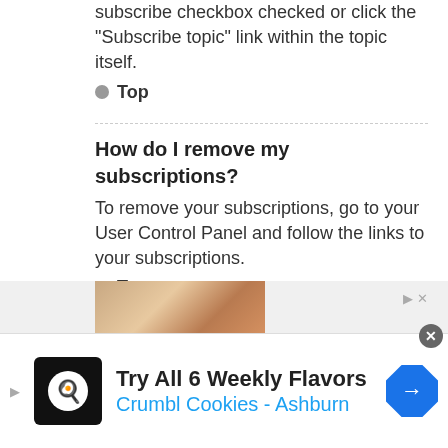subscribe checkbox checked or click the “Subscribe topic” link within the topic itself.
Top
How do I remove my subscriptions?
To remove your subscriptions, go to your User Control Panel and follow the links to your subscriptions.
Top
[Figure (screenshot): Partial advertisement banner showing a food image with play and close controls]
[Figure (screenshot): Crumbl Cookies advertisement banner: Try All 6 Weekly Flavors, Crumbl Cookies - Ashburn]